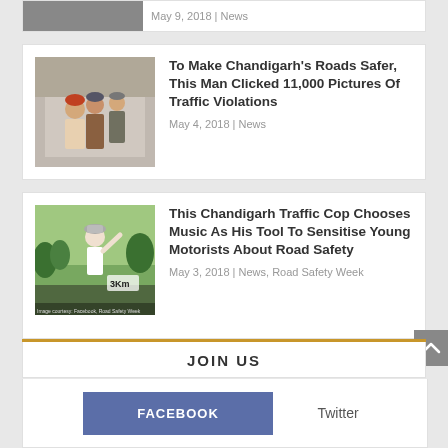[Figure (photo): Partial view of a news card showing a date and category: May 9, 2018 | News]
[Figure (photo): Photo of men in police uniforms indoors]
To Make Chandigarh's Roads Safer, This Man Clicked 11,000 Pictures Of Traffic Violations
May 4, 2018 | News
[Figure (photo): Photo of a man in white running outfit raising arm, with 3Km marker visible]
This Chandigarh Traffic Cop Chooses Music As His Tool To Sensitise Young Motorists About Road Safety
May 3, 2018 | News, Road Safety Week
JOIN US
FACEBOOK
Twitter